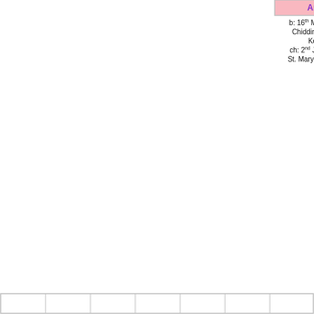[Figure (other): Genealogy family tree diagram showing Ann (b: 16th May 1782 Chiddingstone, Kent, ch: 2nd Jun 1782 St. Mary's Church), Samuel (b: 1st Jun 1784 Chiddingstone, Kent, ch: 27th Jun 1784 St. Mary's Church, d: Jul 1854 Chiddingstone, Kent, bur: 17th Aug 1854 St. Mary's Church, Chiddingstone, Kent), Ellis (b: 21st Oct Chiddingstone, Kent, ch: 19th 1786 St. Mary's Church, d: 1862 Chiddingstone, Kent, bur: 29th 1862 St. Mary's Church, Chiddingstone, Kent), and William Coulstick farm labourer (b: 13th Dec 1790 Chiddingstone, Kent, ch: 2nd Jan 1791 St. Mary's Church, d: 1st Jun 1861 Sevenoaks, Kent) with marriage record m: 2nd Dec 1816 St. Chiddingstone. Bottom row shows child boxes.]